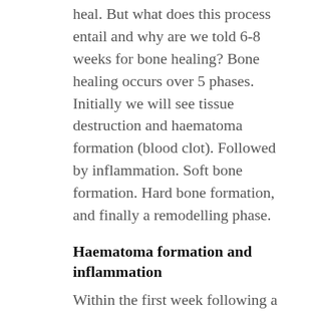heal. But what does this process entail and why are we told 6-8 weeks for bone healing? Bone healing occurs over 5 phases. Initially we will see tissue destruction and haematoma formation (blood clot). Followed by inflammation. Soft bone formation. Hard bone formation, and finally a remodelling phase.
Haematoma formation and inflammation
Within the first week following a broken bone the body will respond by creating a blood clot. This is to provide the bone with increased blood supply and nutrients. Within the blood other responses occur to help begin clearing out dead bone fragments. As well we will see